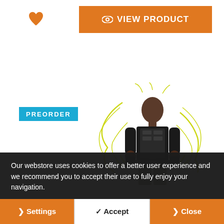[Figure (other): Orange heart/favorite icon]
[Figure (other): Orange VIEW PRODUCT button with eye icon]
[Figure (other): Cyan PREORDER badge label]
[Figure (photo): Action figure of a man in black tactical gear with yellow electric/lightning effects surrounding him, on white background]
Our webstore uses cookies to offer a better user experience and we recommend you to accept their use to fully enjoy your navigation.
[Figure (other): Cookie consent buttons: Settings (orange), Accept (white), Close (orange)]